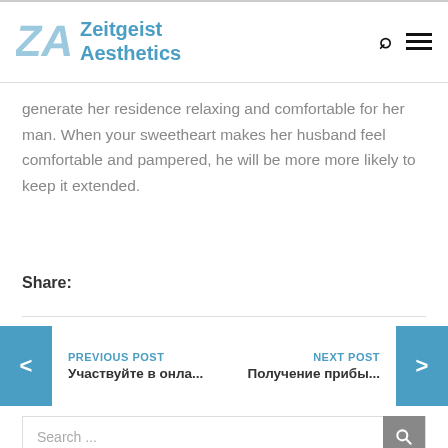Zeitgeist Aesthetics
generate her residence relaxing and comfortable for her man. When your sweetheart makes her husband feel comfortable and pampered, he will be more more likely to keep it extended.
Share:
PREVIOUS POST
Участвуйте в онла...
NEXT POST
Получение прибы...
Search ...